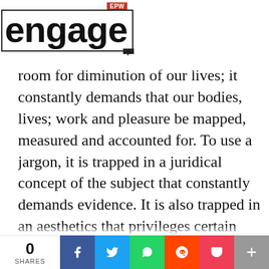EPW engage
room for diminution of our lives; it constantly demands that our bodies, lives; work and pleasure be mapped, measured and accounted for. To use a jargon, it is trapped in a juridical concept of the subject that constantly demands evidence. It is also trapped in an aesthetics that privileges certain bodies, certain language and certain dispositions. Of course, all of this is not new. Dalit littérateurs have time and again foregrounded the violence of Brahminical aesthetics. Unfortunately, their challenge to Brahminical aesthetics that is th...
0 SHARES  [Facebook] [Twitter] [WhatsApp] [Reddit] [Pocket] [+]